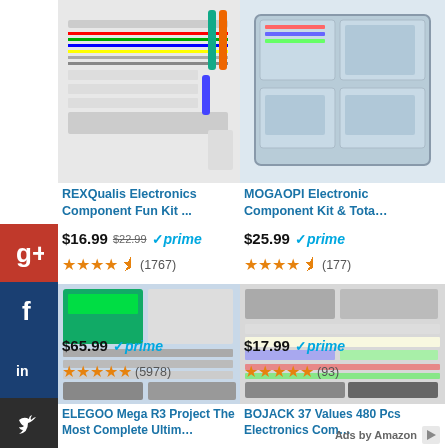[Figure (screenshot): Amazon product listing: REXQualis Electronics Component Fun Kit with breadboard, resistors, LEDs, wires]
REXQualis Electronics Component Fun Kit ...
$16.99  $22.99  ✓prime
★★★★☆ (1767)
[Figure (screenshot): Amazon product listing: MOGAOPI Electronic Component Kit & Tota... in a plastic organizer case]
MOGAOPI Electronic Component Kit & Tota...
$25.99  ✓prime
★★★★☆ (177)
[Figure (screenshot): Amazon product listing: ELEGOO Mega R3 Project The Most Complete Ultim... - full Arduino starter kit spread]
ELEGOO Mega R3 Project The Most Complete Ultim...
$65.99  ✓prime
★★★★★ (5978)
[Figure (screenshot): Amazon product listing: BOJACK 37 Values 480 Pcs Electronics Com... - various electronic components spread]
BOJACK 37 Values 480 Pcs Electronics Com...
$17.99  ✓prime
★★★★★ (93)
Ads by Amazon ▷